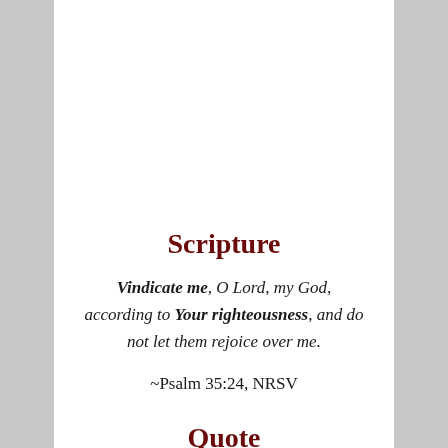Scripture
Vindicate me, O Lord, my God, according to Your righteousness, and do not let them rejoice over me.
~Psalm 35:24, NRSV
Quote
Men can be vicious and malicious but faith in